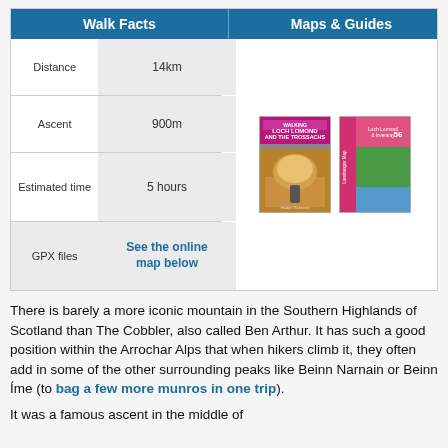| Walk Facts | Maps & Guides |
| --- | --- |
| Distance | 14km |  |
| Ascent | 900m |  |
| Estimated time | 5 hours |  |
| GPX files | See the online map below |  |
There is barely a more iconic mountain in the Southern Highlands of Scotland than The Cobbler, also called Ben Arthur. It has such a good position within the Arrochar Alps that when hikers climb it, they often add in some of the other surrounding peaks like Beinn Narnain or Beinn Íme (to bag a few more munros in one trip).
It was a famous ascent in the middle of